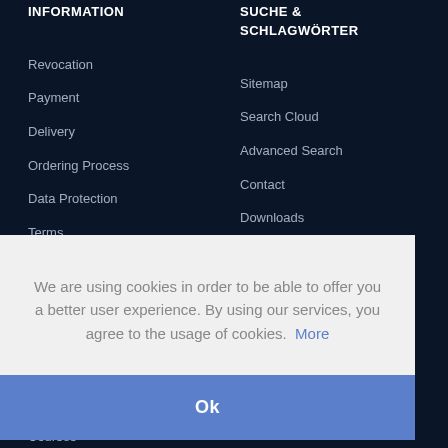INFORMATION
SUCHE & SCHLAGWÖRTER
Revocation
Sitemap
Payment
Search Cloud
Delivery
Advanced Search
Ordering Process
Contact
Data Protection
Downloads
Terms
We are using cookies in order to be able to offer you a better user experience. By using our services, you agree to the usage of cookies. More
Ok
Courses